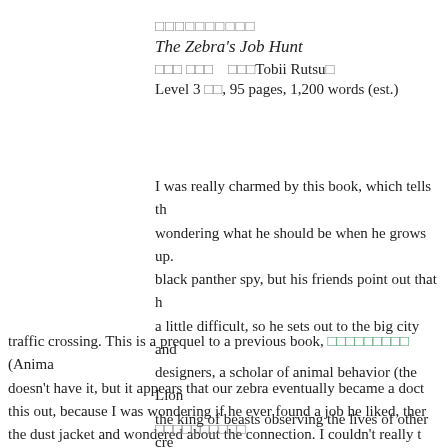□□□□□□□□□□
The Zebra's Job Hunt
□□□ □□□　□□□Tobii Rutsu□
Level 3 □□, 95 pages, 1,200 words (est.)
I was really charmed by this book, which tells th wondering what he should be when he grows up. black panther spy, but his friends point out that h a little difficult, so he sets out to the big city and designers, a scholar of animal behavior (the Lion the king of beasts observing the lives of other cre traffic crossing. This is a prequel to a previous book, □□□□□□□□□ (Anima doesn't have it, but it appears that our zebra eventually became a doct this out, because I was wondering if he ever found a job he liked, ther the dust jacket and wondered about the connection. I couldn't really t son of the doctor zebra in the other book or if the zebra became the do other book online.)
□□□□□□□□□□